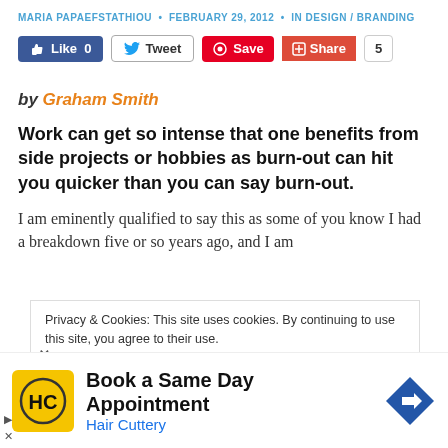MARIA PAPAEFSTATHIOU • FEBRUARY 29, 2012 • IN DESIGN / BRANDING
[Figure (screenshot): Social sharing buttons: Like 0 (Facebook), Tweet (Twitter), Save (Pinterest), Share (Google+), count badge showing 5]
by Graham Smith
Work can get so intense that one benefits from side projects or hobbies as burn-out can hit you quicker than you can say burn-out.
I am eminently qualified to say this as some of you know I had a breakdown five or so years ago, and I am
Privacy & Cookies: This site uses cookies. By continuing to use this site, you agree to their use.
nd out more, including how to control cookies, see here: Cookie
[Figure (infographic): Advertisement for Hair Cuttery: Book a Same Day Appointment, with yellow HC logo and blue direction arrow icon]